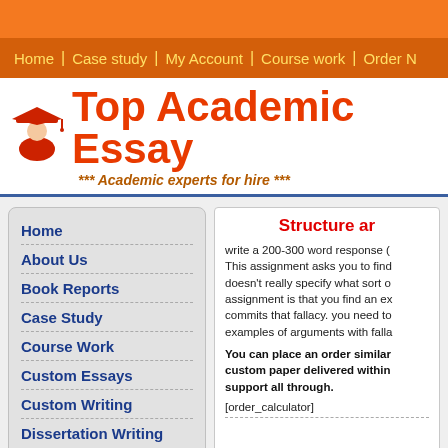[Figure (screenshot): Orange top banner strip]
Home | Case study | My Account | Course work | Order N
Top Academic Essay
*** Academic experts for hire ***
Home
About Us
Book Reports
Case Study
Course Work
Custom Essays
Custom Writing
Dissertation Writing
Structure ar
write a 200-300 word response (This assignment asks you to find doesn't really specify what sort o assignment is that you find an ex commits that fallacy. you need to examples of arguments with falla
You can place an order similar custom paper delivered within support all through.
[order_calculator]